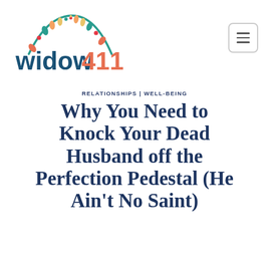[Figure (logo): widow411 logo with colorful semi-circle burst design above the text 'widow411' in teal and orange]
RELATIONSHIPS | WELL-BEING
Why You Need to Knock Your Dead Husband off the Perfection Pedestal (He Ain't No Saint)